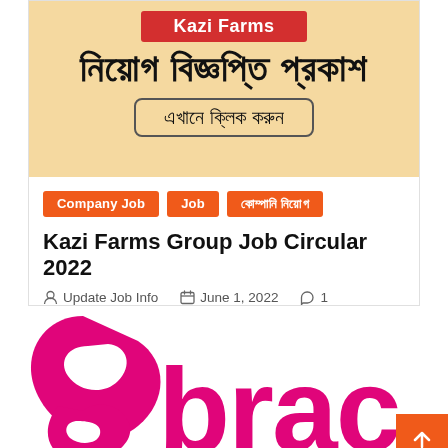[Figure (logo): Kazi Farms job circular banner with Bengali text meaning 'Job Circular Published - Click Here']
Company Job
Job
কোম্পানি নিয়োগ
Kazi Farms Group Job Circular 2022
Update Job Info   June 1, 2022   1
[Figure (logo): BRAC organization logo in pink/magenta color, large letters 'brac' visible]